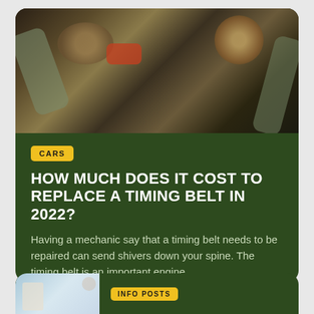[Figure (photo): Close-up photo of a car engine bay showing belts, hoses, and engine components]
CARS
HOW MUCH DOES IT COST TO REPLACE A TIMING BELT IN 2022?
Having a mechanic say that a timing belt needs to be repaired can send shivers down your spine. The timing belt is an important engine
PETE ORTIZ
[Figure (photo): Partial thumbnail photo for second article card]
INFO POSTS